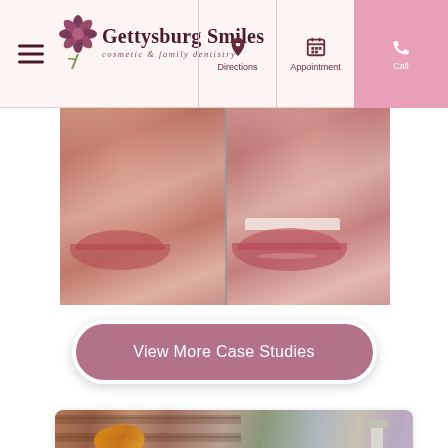Gettysburg Smiles — cosmetic & family dentistry — navigation header with Directions, Appointment, Call buttons
[Figure (photo): Before and after dental/lip treatment side-by-side close-up photos showing lips]
View More Case Studies
[Figure (photo): Video thumbnail showing dental office interior with brick wall and dental chair equipment, with pink play button overlay]